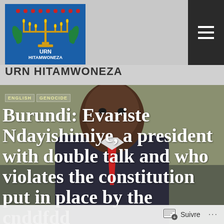[Figure (logo): URN Hitamwoneza logo: golden menorah on blue background with red dots and decorative plants, text URN HITAMWONEZA]
URN HITAMWONEZA
[Figure (photo): A man in a suit with a red tie seated in front of a blurred background]
ENGLISH  /  GENOCIDE
Burundi: Evariste Ndayishimiye, a president with double talk and who violates the constitution put in place by the cnddfdd
Suivre ...